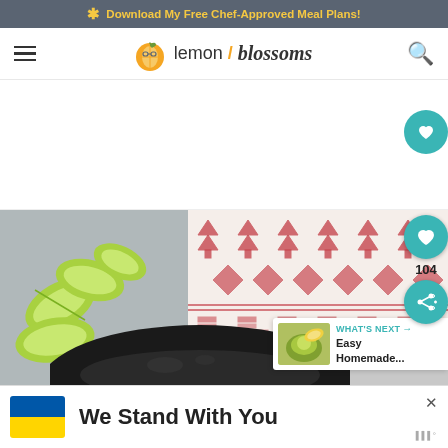* Download My Free Chef-Approved Meal Plans!
[Figure (logo): Lemon Blossoms food blog logo with lemon icon and stylized text]
[Figure (photo): Food photo showing lime wedges on a gray surface with a red and white patterned cloth and a dark bowl, with social share buttons overlay showing heart icon and share icon with count 104, and a What's Next card showing Easy Homemade... recipe]
[Figure (other): Advertisement banner with Ukrainian flag colors (blue and yellow) and text 'We Stand With You' with a close button]